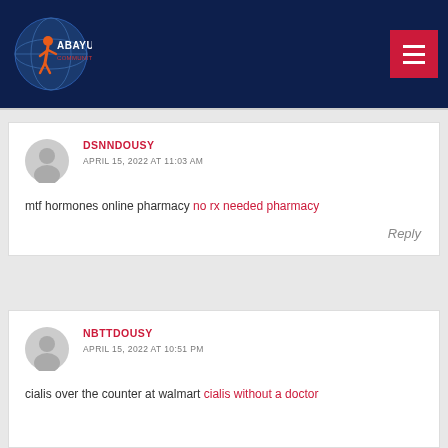[Figure (logo): Abayuuti Community Group logo with globe and figure on dark navy header background]
DSNNDOUSY
APRIL 15, 2022 AT 11:03 AM
mtf hormones online pharmacy no rx needed pharmacy
Reply
NBTTDOUSY
APRIL 15, 2022 AT 10:51 PM
cialis over the counter at walmart cialis without a doctor